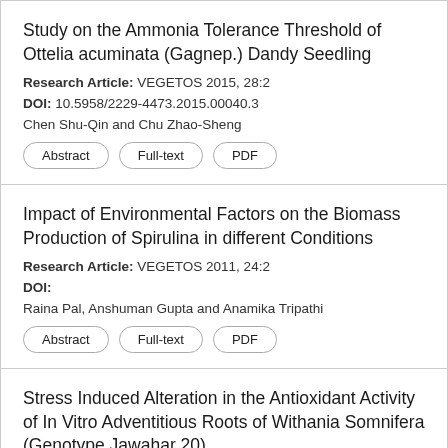Study on the Ammonia Tolerance Threshold of Ottelia acuminata (Gagnep.) Dandy Seedling
Research Article: VEGETOS 2015, 28:2
DOI: 10.5958/2229-4473.2015.00040.3
Chen Shu-Qin and Chu Zhao-Sheng
Abstract | Full-text | PDF
Impact of Environmental Factors on the Biomass Production of Spirulina in different Conditions
Research Article: VEGETOS 2011, 24:2
DOI:
Raina Pal, Anshuman Gupta and Anamika Tripathi
Abstract | Full-text | PDF
Stress Induced Alteration in the Antioxidant Activity of In Vitro Adventitious Roots of Withania Somnifera (Genotype Jawahar 20)
Research Article: VEGETOS 2017, 30:3
DOI: 10.5958/2229-4473.2017.00156.2